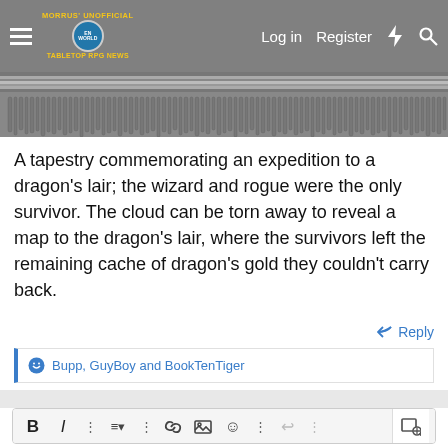Morrus' Unofficial Tabletop RPG News | Log in | Register
[Figure (illustration): Bottom portion of a decorative tapestry with hanging fringe, rendered in grayscale. The tapestry shows a detailed woven pattern with vertical fringe elements hanging from a horizontal bar.]
A tapestry commemorating an expedition to a dragon's lair; the wizard and rogue were the only survivor. The cloud can be torn away to reveal a map to the dragon's lair, where the survivors left the remaining cache of dragon's gold they couldn't carry back.
Reply
Bupp, GuyBoy and BookTenTiger